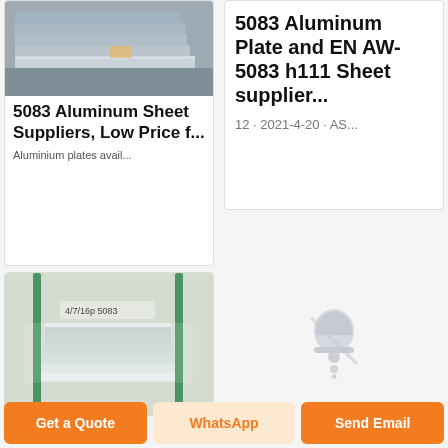[Figure (photo): Photo of aluminum plates/sheets stacked, shown from the side]
5083 Aluminum Sheet Suppliers, Low Price f...
Aluminium plates avail...
5083 Aluminum Plate and EN AW-5083 h111 Sheet supplier...
12 · 2021-4-20 · AS...
[Figure (photo): Photo of aluminum plates stacked with plastic wrapping and green supports]
[Figure (illustration): Bell/notification icon (muted bell with location pin)]
Get a Quote
WhatsApp
Send Email